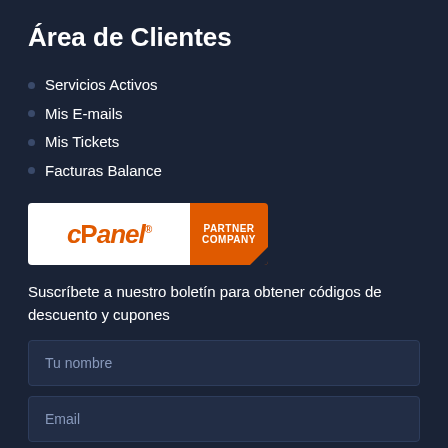Área de Clientes
Servicios Activos
Mis E-mails
Mis Tickets
Facturas Balance
[Figure (logo): cPanel Partner Company badge — white left panel with orange cPanel logo, orange right panel with PARTNER COMPANY text]
Suscríbete a nuestro boletín para obtener códigos de descuento y cupones
Tu nombre
Email
Suscríbase Ahora